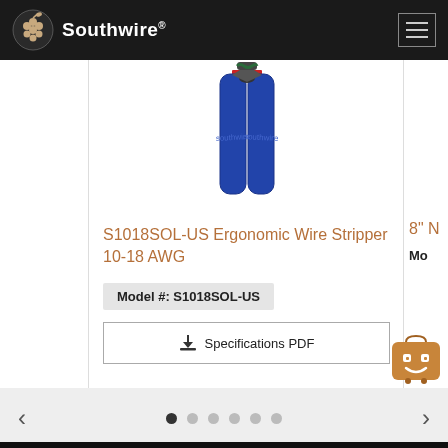[Figure (logo): Southwire company logo with circular grape cluster icon on dark header bar]
[Figure (photo): Blue-handled ergonomic wire stripper tool with red accents and spring mechanism, shown open from above]
S1018SOL-US Ergonomic Wire Stripper 10-18 AWG
Model #: S1018SOL-US
Specifications PDF
8" ...
Mo...